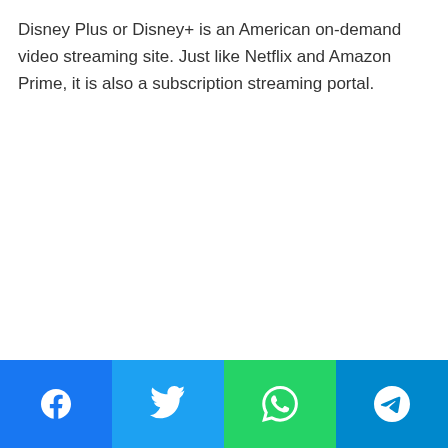Disney Plus or Disney+ is an American on-demand video streaming site. Just like Netflix and Amazon Prime, it is also a subscription streaming portal.
Social share buttons: Facebook, Twitter, WhatsApp, Telegram